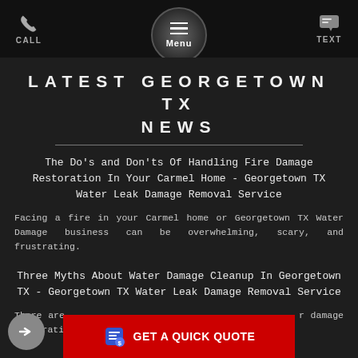CALL  Menu  TEXT
LATEST GEORGETOWN TX NEWS
The Do's and Don'ts Of Handling Fire Damage Restoration In Your Carmel Home - Georgetown TX Water Leak Damage Removal Service
Facing a fire in your Carmel home or Georgetown TX Water Damage business can be overwhelming, scary, and frustrating.
Three Myths About Water Damage Cleanup In Georgetown TX - Georgetown TX Water Leak Damage Removal Service
There are ... r damage restoration, ...
GET A QUICK QUOTE